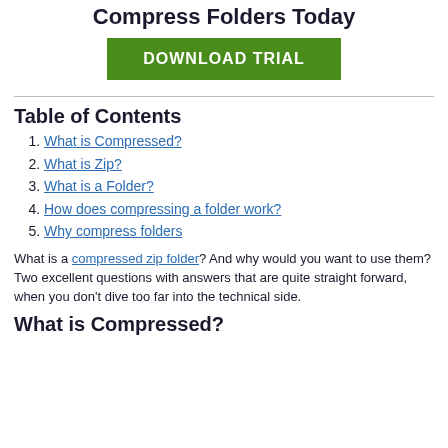Compress Folders Today
[Figure (other): Green DOWNLOAD TRIAL button]
Table of Contents
What is Compressed?
What is Zip?
What is a Folder?
How does compressing a folder work?
Why compress folders
What is a compressed zip folder? And why would you want to use them? Two excellent questions with answers that are quite straight forward, when you don't dive too far into the technical side.
What is Compressed?